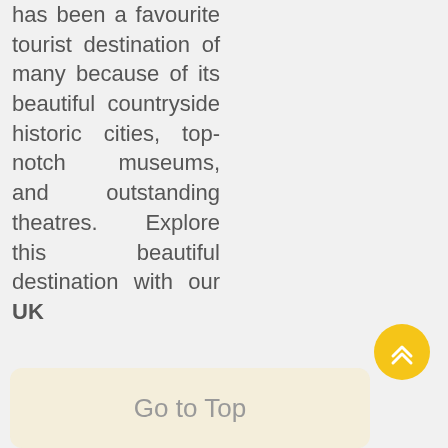has been a favourite tourist destination of many because of its beautiful countryside historic cities, top-notch museums, and outstanding theatres. Explore this beautiful destination with our UK
[Figure (other): Yellow circular back-to-top button with double chevron arrows pointing up]